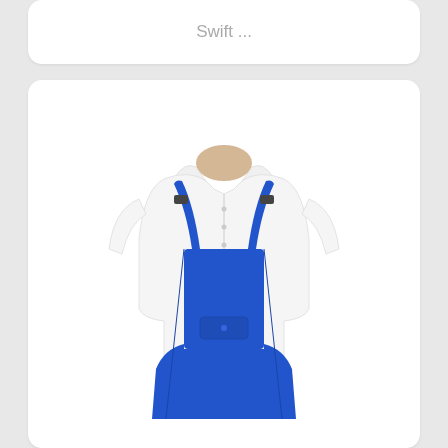Swift ...
[Figure (photo): A headless mannequin torso wearing a white dress shirt and blue bib overalls with adjustable shoulder straps and a front chest pocket, displayed against a white background.]